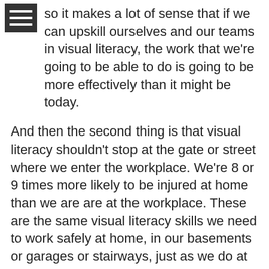so it makes a lot of sense that if we can upskill ourselves and our teams in visual literacy, the work that we're going to be able to do is going to be more effectively than it might be today.
And then the second thing is that visual literacy shouldn't stop at the gate or street where we enter the workplace. We're 8 or 9 times more likely to be injured at home than we are are at the workplace. These are the same visual literacy skills we need to work safely at home, in our basements or garages or stairways, just as we do at the workplace.
So visual literacy for safety really is a 24/7 kind of thing.
Convergence Training: Two good points. I especially like the point that it's important to learn visual literacy for hazard identification, and in particular, in regards to the whole concept of hazard ID, people